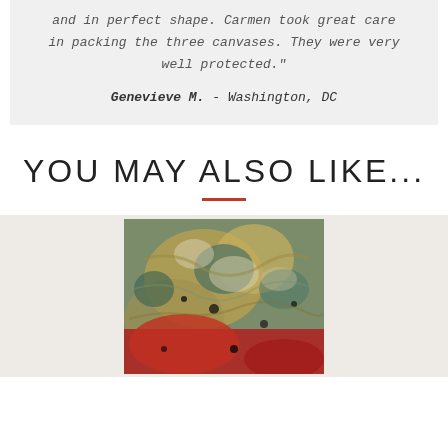and in perfect shape. Carmen took great care in packing the three canvases. They were very well protected."
Genevieve M. - Washington, DC
YOU MAY ALSO LIKE...
[Figure (photo): Abstract painting with mixed colors including red, green, gold, and black impasto textures on canvas]